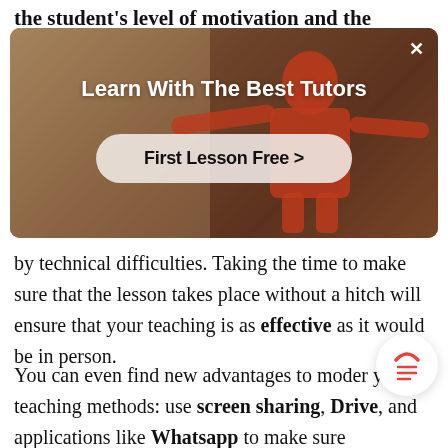the student's level of motivation and the teacher's
[Figure (screenshot): Advertisement overlay with a person in a red sweater in background. Title reads 'Learn With The Best Tutors' in white bold text. A rounded button with 'First Lesson Free >' in bold dark text. Close X button in top right corner.]
by technical difficulties. Taking the time to make sure that the lesson takes place without a hitch will ensure that your teaching is as effective as it would be in person.
You can even find new advantages to moder your teaching methods: use screen sharing, Drive, and applications like Whatsapp to make sure